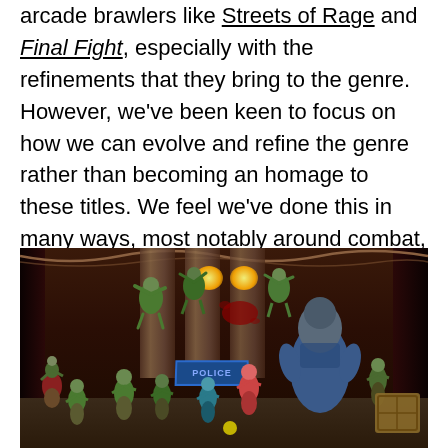arcade brawlers like Streets of Rage and Final Fight, especially with the refinements that they bring to the genre. However, we've been keen to focus on how we can evolve and refine the genre rather than becoming an homage to these titles. We feel we've done this in many ways, most notably around combat, presentation, and the VR functionality.
[Figure (screenshot): Side-scrolling beat-em-up video game screenshot showing zombie-like enemies and large boss character in a dark urban setting with a police station backdrop. Multiple enemy characters are shown fighting, some airborne. A 'POLICE' sign is visible in the background.]